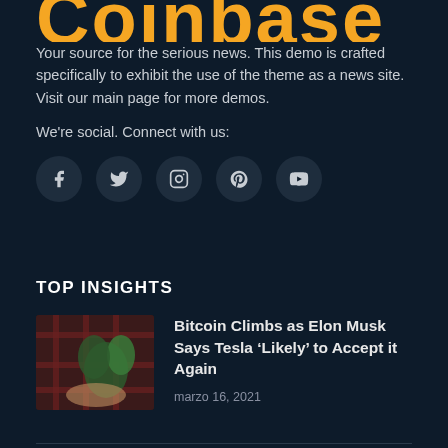Coinbase
Your source for the serious news. This demo is crafted specifically to exhibit the use of the theme as a news site. Visit our main page for more demos.
We're social. Connect with us:
[Figure (infographic): Row of 5 social media icon circles: Facebook, Twitter, Instagram, Pinterest, YouTube]
TOP INSIGHTS
[Figure (photo): Thumbnail image showing hands with green plant and red plaid fabric]
Bitcoin Climbs as Elon Musk Says Tesla ‘Likely’ to Accept it Again
marzo 16, 2021